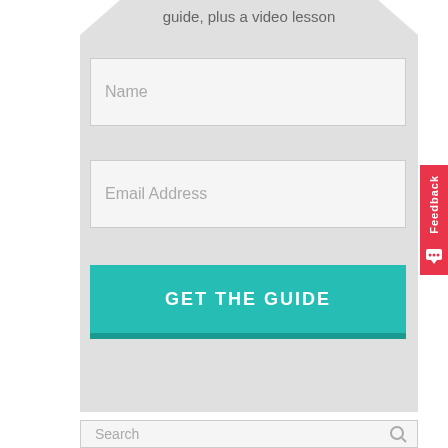guide, plus a video lesson
Name
Email Address
GET THE GUIDE
Search
Feedback